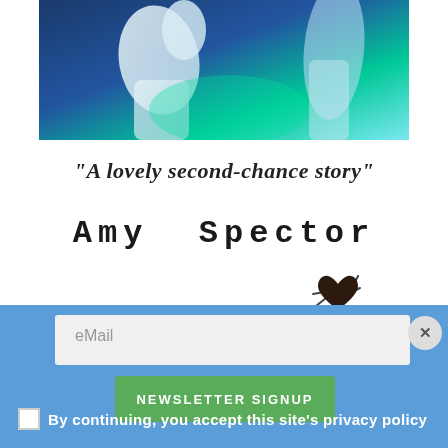[Figure (photo): Book cover image with blue/teal gradient and white sculptural figure, partially cropped at top]
"A lovely second-chance story"
Amy Spector
[Figure (illustration): Small heart emoji with motion lines]
eMail
NEWSLETTER SIGNUP
By continuing, you accept this site's privacy policy